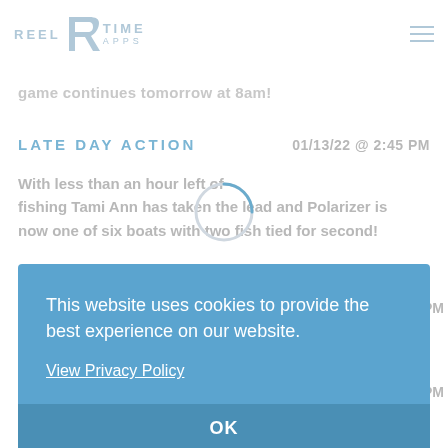REEL [logo] TIME APPS
game continues tomorrow at 8am!
LATE DAY ACTION
01/13/22 @ 2:45 PM
With less than an hour left of fishing Tami Ann has taken the lead and Polarizer is now one of six boats with two fish tied for second!
[Figure (other): Loading spinner circle icon]
5 PM
5 PM
Winston Wren weighed a 16.0 lbs
This website uses cookies to provide the best experience on our website.
View Privacy Policy
OK